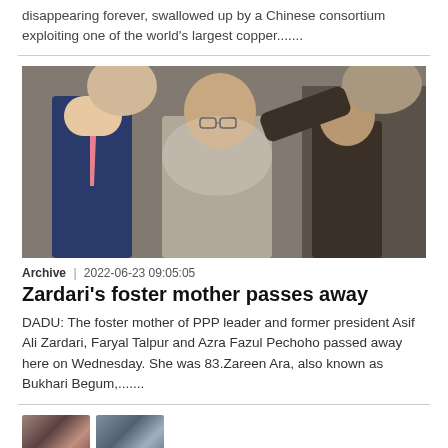disappearing forever, swallowed up by a Chinese consortium exploiting one of the world's largest copper.......
[Figure (photo): A bald man in a grey shalwar kameez surrounded by a crowd; a man in a blue suit with pink tie is visible to his left]
Archive  |  2022-06-23 09:05:05
Zardari's foster mother passes away
DADU: The foster mother of PPP leader and former president Asif Ali Zardari, Faryal Talpur and Azra Fazul Pechoho passed away here on Wednesday. She was 83.Zareen Ara, also known as Bukhari Begum,.......
[Figure (photo): Partial thumbnail images at the bottom of the page]